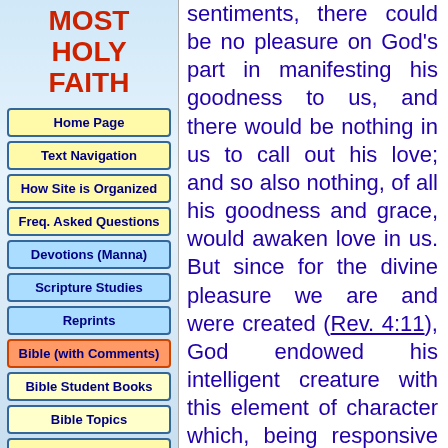MOST HOLY FAITH
Home Page
Text Navigation
How Site is Organized
Freq. Asked Questions
Devotions (Manna)
Scripture Studies
Reprints
Bible (with Comments)
Bible Student Books
Bible Topics
Expanded Bible Topics
Bible Student Webs
Miscellaneous
sentiments, there could be no pleasure on God's part in manifesting his goodness to us, and there would be nothing in us to call out his love; and so also nothing, of all his goodness and grace, would awaken love in us. But since for the divine pleasure we are and were created (Rev. 4:11), God endowed his intelligent creature with this element of character which, being responsive to his own goodness, institutes a lively and delightful fellowship with himself, which is the chief end of human existence, both on the side of the creature and of the